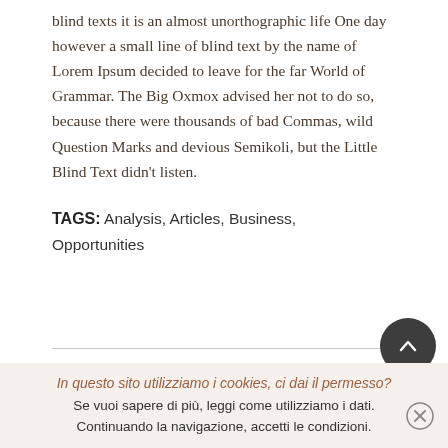blind texts it is an almost unorthographic life One day however a small line of blind text by the name of Lorem Ipsum decided to leave for the far World of Grammar. The Big Oxmox advised her not to do so, because there were thousands of bad Commas, wild Question Marks and devious Semikoli, but the Little Blind Text didn't listen.
TAGS: Analysis, Articles, Business, Opportunities
In questo sito utilizziamo i cookies, ci dai il permesso? Se vuoi sapere di più, leggi come utilizziamo i dati. Continuando la navigazione, accetti le condizioni.